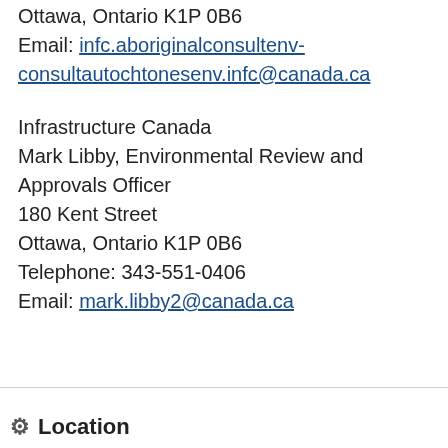1100 – 160 Kent St
Ottawa, Ontario K1P 0B6
Email: infc.aboriginalconsultenv-consultautochtonesenv.infc@canada.ca
Infrastructure Canada
Mark Libby, Environmental Review and Approvals Officer
180 Kent Street
Ottawa, Ontario K1P 0B6
Telephone: 343-551-0406
Email: mark.libby2@canada.ca
Location